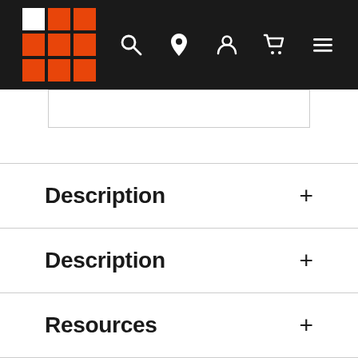Navigation header with logo, search, location, account, cart, and menu icons
[Figure (screenshot): Partial image or product image strip]
Description
Description
Resources
Delivery